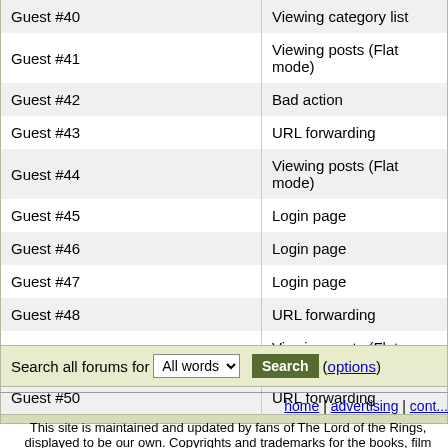| Guest #40 | Viewing category list |
| Guest #41 | Viewing posts (Flat mode) |
| Guest #42 | Bad action |
| Guest #43 | URL forwarding |
| Guest #44 | Viewing posts (Flat mode) |
| Guest #45 | Login page |
| Guest #46 | Login page |
| Guest #47 | Login page |
| Guest #48 | URL forwarding |
| Guest #49 | Viewing posts (Flat mode) |
| Guest #50 | URL forwarding |
Search all forums for [All words] [Search input] Search (options)
home | advertising | cont...
This site is maintained and updated by fans of The Lord of the Rings, displayed to be our own. Copyrights and trademarks for the books, film the fair use clause of the Copyright Law. Design and original pho...